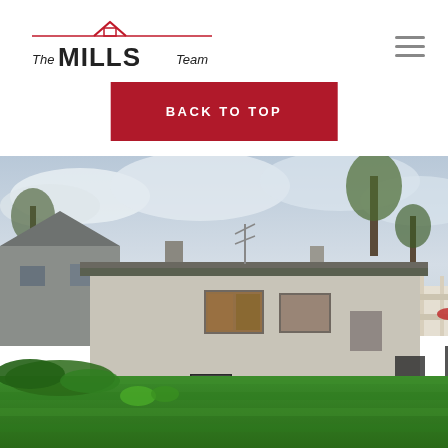[Figure (logo): The Mills Team real estate logo with house icon above text]
BACK TO TOP
[Figure (photo): Exterior back yard photo of a brick ranch-style house with green lawn, trees, and cloudy sky]